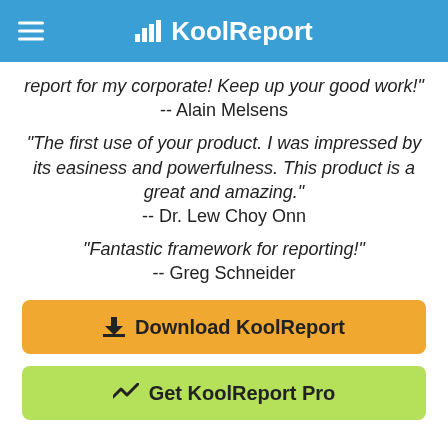KoolReport
report for my corporate! Keep up your good work!"
-- Alain Melsens
"The first use of your product. I was impressed by its easiness and powerfulness. This product is a great and amazing."
-- Dr. Lew Choy Onn
"Fantastic framework for reporting!"
-- Greg Schneider
Download KoolReport
Get KoolReport Pro